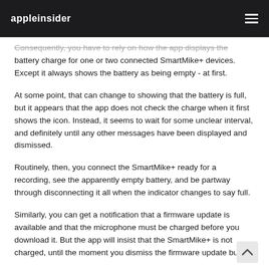appleinsider
Consequently, you have to rely on how the app displays the battery charge for one or two connected SmartMike+ devices. Except it always shows the battery as being empty - at first.
At some point, that can change to showing that the battery is full, but it appears that the app does not check the charge when it first shows the icon. Instead, it seems to wait for some unclear interval, and definitely until any other messages have been displayed and dismissed.
Routinely, then, you connect the SmartMike+ ready for a recording, see the apparently empty battery, and be partway through disconnecting it all when the indicator changes to say full.
Similarly, you can get a notification that a firmware update is available and that the microphone must be charged before you download it. But the app will insist that the SmartMike+ is not charged, until the moment you dismiss the firmware update button.